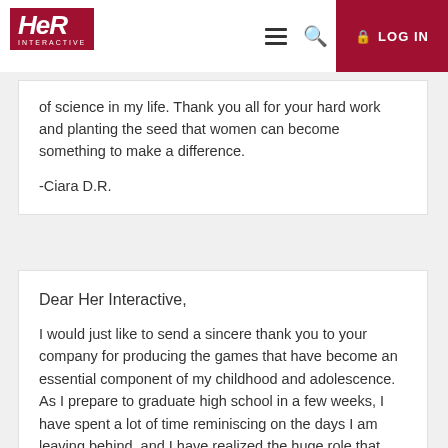Her Interactive - LOG IN
of science in my life. Thank you all for your hard work and planting the seed that women can become something to make a difference.

-Ciara D.R.
Dear Her Interactive,

I would just like to send a sincere thank you to your company for producing the games that have become an essential component of my childhood and adolescence.  As I prepare to graduate high school in a few weeks, I have spent a lot of time reminiscing on the days I am leaving behind, and I have realized the huge role that your games have played in the past 10 years of my life.  I received my first game, Curse of Blackmoor Manor, as a Christmas gift when I was seven or eight